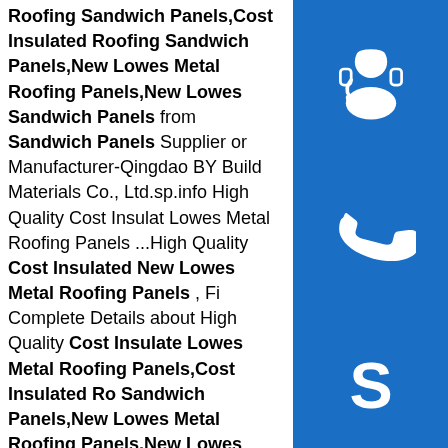Roofing Sandwich Panels,Cost Insulated Roofing Sandwich Panels,New Lowes Metal Roofing Panels,New Lowes Sandwich Panels from Sandwich Panels Supplier or Manufacturer-Qingdao BY Building Materials Co., Ltd.sp.info High Quality Cost Insulated Lowes Metal Roofing Panels ...High Quality Cost Insulated New Lowes Metal Roofing Panels , Find Complete Details about High Quality Cost Insulated Lowes Metal Roofing Panels,Cost Insulated Roofing Sandwich Panels,New Lowes Metal Roofing Panels,New Lowes Sandwich Panels from Sandwich Panels Supplier or Manufacturer-Henan Canglong Steel Structure Engineering Co., Ltd.sp.info Roof Panels & Accessories at Lowes.comShop roof panels & accessories in the roofing section of Lowes.com. Find quality roof panels & accessories online or in store. ... Metal Sales Classic Rib 3-ft x 8-ft Ribbed Metal Roof Panel. Item: #911672. Model: #2312041LW (12) Write a review. Find my store. for pricing and availability.
[Figure (illustration): Blue square icon with white headset/customer support symbol]
[Figure (illustration): Blue square icon with white telephone/phone symbol]
[Figure (logo): Blue square icon with white Skype logo symbol]